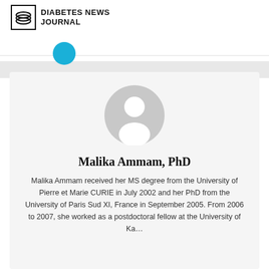[Figure (logo): Diabetes News Journal logo with stylized icon and bold text]
[Figure (illustration): Blue filled circle navigation element]
[Figure (illustration): Gray default user avatar/profile picture placeholder]
Malika Ammam, PhD
Malika Ammam received her MS degree from the University of Pierre et Marie CURIE in July 2002 and her PhD from the University of Paris Sud XI, France in September 2005. From 2006 to 2007, she worked as a postdoctoral fellow at the University of Kansas in